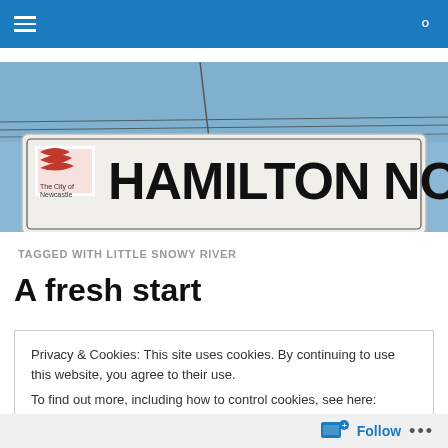Navigation bar with menu and search icons
[Figure (photo): Street sign reading HAMILTON NORTH with City of Newcastle logo on a light blue sky background with power lines visible]
TAGGED WITH LITTLE SNOWY RIVER
A fresh start
Privacy & Cookies: This site uses cookies. By continuing to use this website, you agree to their use.
To find out more, including how to control cookies, see here: Cookie Policy
Close and accept
Follow ...